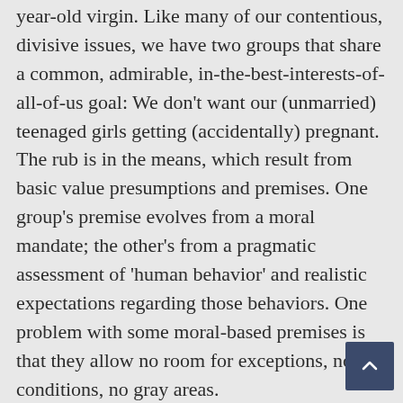year-old virgin. Like many of our contentious, divisive issues, we have two groups that share a common, admirable, in-the-best-interests-of-all-of-us goal: We don't want our (unmarried) teenaged girls getting (accidentally) pregnant. The rub is in the means, which result from basic value presumptions and premises. One group's premise evolves from a moral mandate; the other's from a pragmatic assessment of 'human behavior' and realistic expectations regarding those behaviors. One problem with some moral-based premises is that they allow no room for exceptions, no conditions, no gray areas.
If premarital sex is wrong just because it's WRONG!, then it's WRONG! all the time, no exceptions, no waivers, no deviations. Now, compare and contrast from the same section of the same paper … "France unveils strict rules for 'morning after' pill in